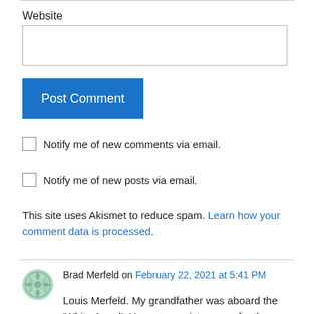Website
Post Comment
Notify me of new comments via email.
Notify me of new posts via email.
This site uses Akismet to reduce spam. Learn how your comment data is processed.
[Figure (illustration): User avatar: circular green decorative icon with symmetrical petal/leaf pattern]
Brad Merfeld on February 22, 2021 at 5:41 PM
Louis Merfeld. My grandfather was aboard the 'White Angel'. He was a waist gunner for the